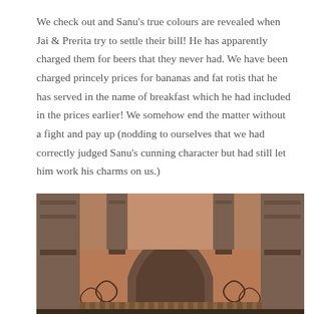We check out and Sanu's true colours are revealed when Jai & Prerita try to settle their bill! He has apparently charged them for beers that they never had. We have been charged princely prices for bananas and fat rotis that he has served in the name of breakfast which he had included in the prices earlier! We somehow end the matter without a fight and pay up (nodding to ourselves that we had correctly judged Sanu's cunning character but had still let him work his charms on us.)
[Figure (photo): Photograph of an ornate Nepali temple facade with intricate carved stonework, including a decorative torana (arched tympanum) with deity figures, flanked by carved pillars and brick walls.]